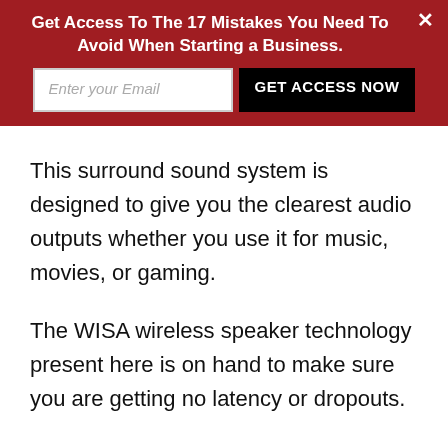Get Access To The 17 Mistakes You Need To Avoid When Starting a Business.
This surround sound system is designed to give you the clearest audio outputs whether you use it for music, movies, or gaming.
The WISA wireless speaker technology present here is on hand to make sure you are getting no latency or dropouts.